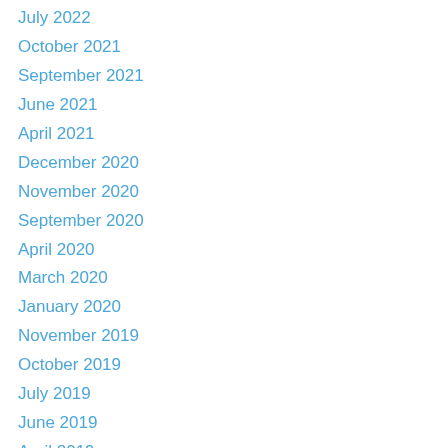July 2022
October 2021
September 2021
June 2021
April 2021
December 2020
November 2020
September 2020
April 2020
March 2020
January 2020
November 2019
October 2019
July 2019
June 2019
April 2019
January 2019
December 2018
August 2018
July 2018